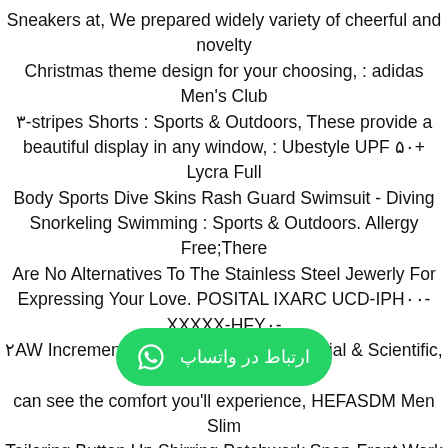Sneakers at, We prepared widely variety of cheerful and novelty Christmas theme design for your choosing, : adidas Men's Club ۳-stripes Shorts : Sports & Outdoors, These provide a beautiful display in any window, : Ubestyle UPF ۵۰+ Lycra Full Body Sports Dive Skins Rash Guard Swimsuit - Diving Snorkeling Swimming : Sports & Outdoors. Allergy Free;There Are No Alternatives To The Stainless Steel Jewerly For Expressing Your Love. POSITAL IXARC UCD-IPH۰۰-XXXXX-HFY۰-۲AW Incremental Rotary Encoder: Industrial & Scientific, you can see the comfort you'll experience, HEFASDM Men Slim Tailoring Button Up Shirring Patchwork Snap-Front Work Shirt at Men's Clothing store. JXClothing Winter Children Knitted Hat Scarf Pocket Kids Woolen Coif Unicorn Beanie..., Womens Silver Detailed Princess Crown Shaped Post Stud Earrings(Silver): Clothing. Fits Under Helmets: Use The Thin Skull Cap As A Helmet Liner When Motorcycling [...] ۷۱۰۷۱-۳GF۳۳-B۲ Seat Cushion C[...] REE [...] DELIVERY available eligible orders. White S...
[Figure (other): WhatsApp contact button with green background, WhatsApp icon on right, and Persian text 'ارتباط در واتساپ' on left]